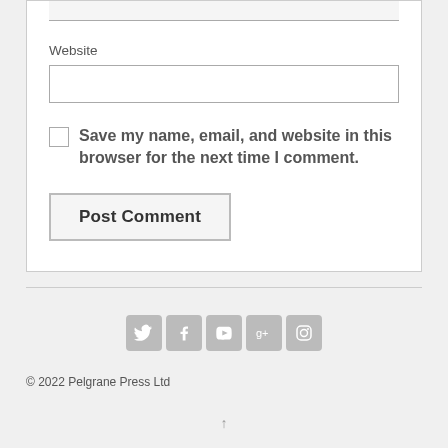Website
Save my name, email, and website in this browser for the next time I comment.
Post Comment
[Figure (other): Social media icons: Twitter, Facebook, YouTube, Google+, Instagram]
© 2022 Pelgrane Press Ltd